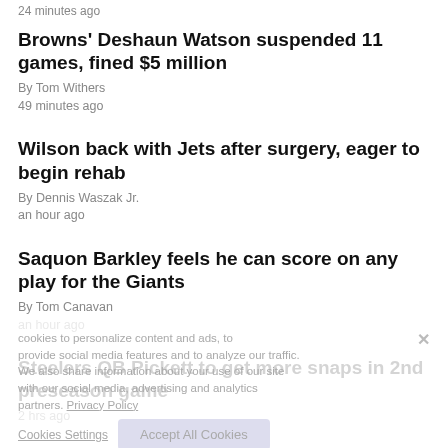24 minutes ago
Browns' Deshaun Watson suspended 11 games, fined $5 million
By Tom Withers
49 minutes ago
Wilson back with Jets after surgery, eager to begin rehab
By Dennis Waszak Jr.
an hour ago
Saquon Barkley feels he can score on any play for the Giants
By Tom Canavan
an hour ago
Steelers QB Pickett to get more snaps in 2nd preseason game
2 hrs ago